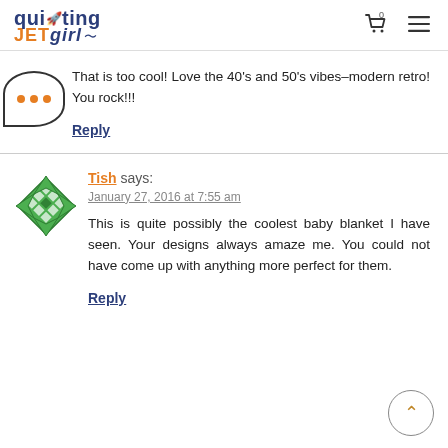quilting JETgirl
That is too cool! Love the 40's and 50's vibes–modern retro! You rock!!!
Reply
Tish says:
January 27, 2016 at 7:55 am
This is quite possibly the coolest baby blanket I have seen. Your designs always amaze me. You could not have come up with anything more perfect for them.
Reply